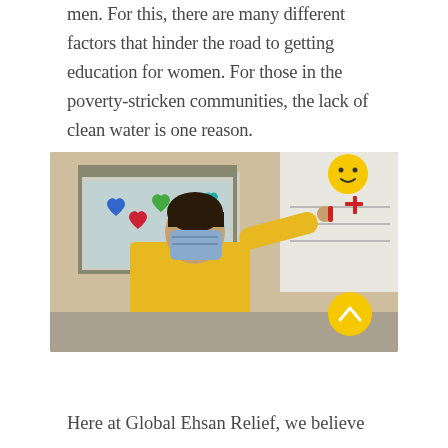men. For this, there are many different factors that hinder the road to getting education for women. For those in the poverty-stricken communities, the lack of clean water is one reason.
[Figure (photo): A young boy wearing a blue face mask and a yellow long-sleeve shirt reaches up to write or draw on a whiteboard inside what appears to be a school bus. Colorful heart-shaped decorations are visible on the bus window behind him, and a yellow smiley face emoji decoration is visible in the upper right area.]
Here at Global Ehsan Relief, we believe